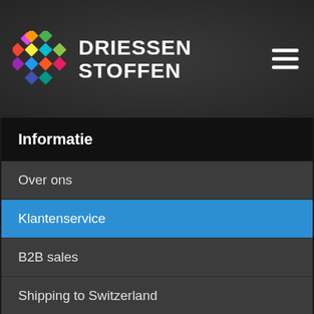DRIESSEN STOFFEN
Informatie
Over ons
Klantenservice
B2B sales
Shipping to Switzerland
Privacy voorwaarden
Algemene voorwaarden
Contact
Frequently asked questions
BESTELLEN